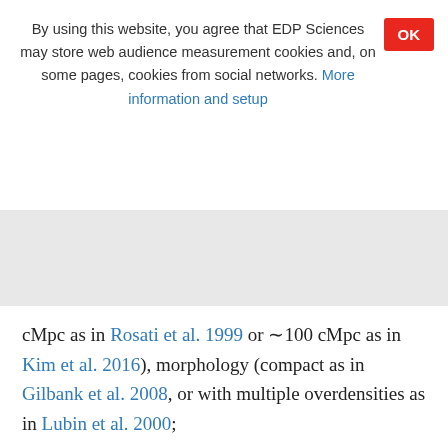By using this website, you agree that EDP Sciences may store web audience measurement cookies and, on some pages, cookies from social networks. More information and setup
cMpc as in Rosati et al. 1999 or ~100 cMpc as in Kim et al. 2016), morphology (compact as in Gilbank et al. 2008, or with multiple overdensities as in Lubin et al. 2000;